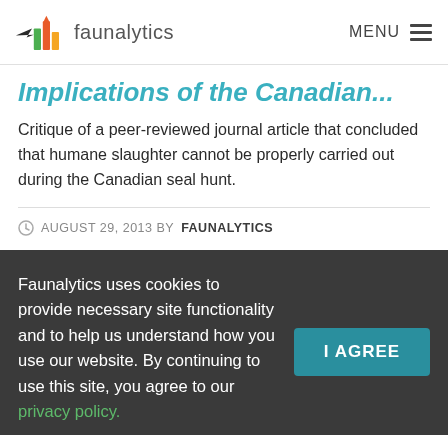faunalytics — MENU
Implications of the Canadian...
Critique of a peer-reviewed journal article that concluded that humane slaughter cannot be properly carried out during the Canadian seal hunt.
AUGUST 29, 2013 BY FAUNALYTICS
Faunalytics uses cookies to provide necessary site functionality and to help us understand how you use our website. By continuing to use this site, you agree to our privacy policy.